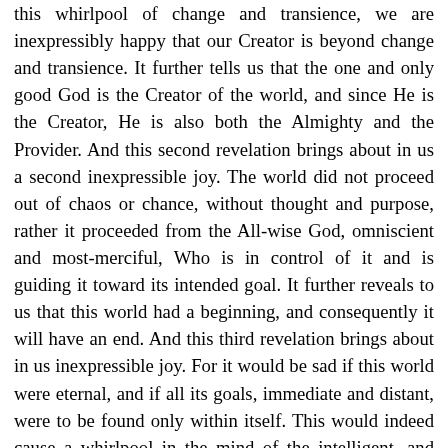this whirlpool of change and transience, we are inexpressibly happy that our Creator is beyond change and transience. It further tells us that the one and only good God is the Creator of the world, and since He is the Creator, He is also both the Almighty and the Provider. And this second revelation brings about in us a second inexpressible joy. The world did not proceed out of chaos or chance, without thought and purpose, rather it proceeded from the All-wise God, omniscient and most-merciful, Who is in control of it and is guiding it toward its intended goal. It further reveals to us that this world had a beginning, and consequently it will have an end. And this third revelation brings about in us inexpressible joy. For it would be sad if this world were eternal, and if all its goals, immediate and distant, were to be found only within itself. This would indeed cause a whirlpool in the mind of the intelligent, and sadness in the heart of the righteous. It finally points out to us that God created two worlds, the heavenly and the earthly, or the incorporeal and the corporeal. And this fourth revelation brings us a fourth inexpressible joy. As we now raise our gaze to the heights and rejoice in the sun, moon and stars above our heads, so we can raise our spirit to the spiritual world, toward the angelic world, which is akin to us but purer and brighter than us. We rejoice, for we know